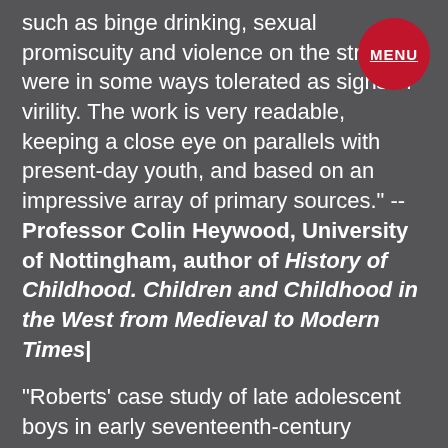such as binge drinking, sexual promiscuity and violence on the streets were in some ways tolerated as signs of virility. The work is very readable, keeping a close eye on parallels with present-day youth, and based on an impressive array of primary sources." -- Professor Colin Heywood, University of Nottingham, author of History of Childhood. Children and Childhood in the West from Medieval to Modern Times|
"Roberts' case study of late adolescent boys in early seventeenth-century Holland shows us the importance of local studies and of a specific focus to tease out rich examples. Using an array of primary sources and an impressive command of scholarship in English, Dutch, and German, Roberts explores the ways